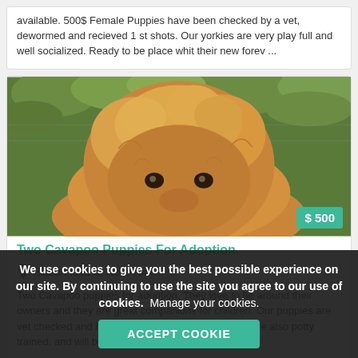available. 500$ Female Puppies have been checked by a vet, dewormed and recieved 1 st shots. Our yorkies are very play full and well socialized. Ready to be place whit their new forev ...
[Figure (photo): Close-up photo of a fluffy golden/apricot Cavapoo puppy with curly fur, green foliage in background. Price badge shows $500.]
Two Cavapoo Puppies For Adoption.
Staten Island, New York
Two Cavapoo puppies for adoption. They love to be around their owners and they are great companions for children. Our puppies are vet checked and have all registration papers. They are also potty trained, and will be coming with all their playing toy
We use cookies to give you the best possible experience on our site. By continuing to use the site you agree to our use of cookies.  Manage your cookies.
ACCEPT COOKIE